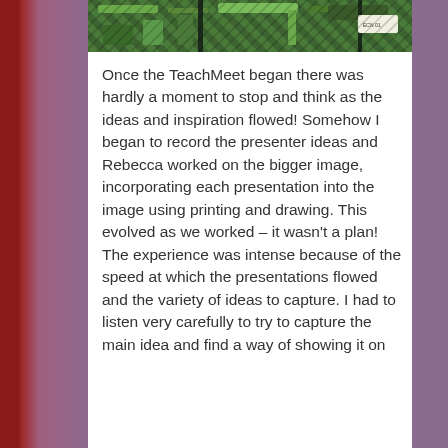[Figure (photo): Partial photo at top showing what appears to be a printed circuit board or colorful printed material with green and dark tones, cropped at top of page]
Once the TeachMeet began there was hardly a moment to stop and think as the ideas and inspiration flowed! Somehow I began to record the presenter ideas and Rebecca worked on the bigger image, incorporating each presentation into the image using printing and drawing. This evolved as we worked – it wasn't a plan! The experience was intense because of the speed at which the presentations flowed and the variety of ideas to capture. I had to listen very carefully to try to capture the main idea and find a way of showing it on